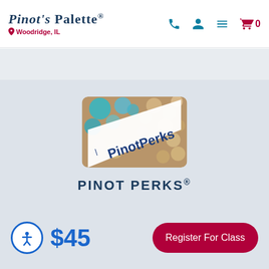Pinot's Palette – Woodridge, IL
[Figure (logo): Pinot's Palette logo with location marker for Woodridge, IL and navigation icons (phone, person, menu, cart with 0)]
[Figure (photo): PinotPerks loyalty card showing the text 'PinotPerks' on a white diagonal band over a background of colorful wine bottle corks]
PINOT PERKS®
$45
Register For Class